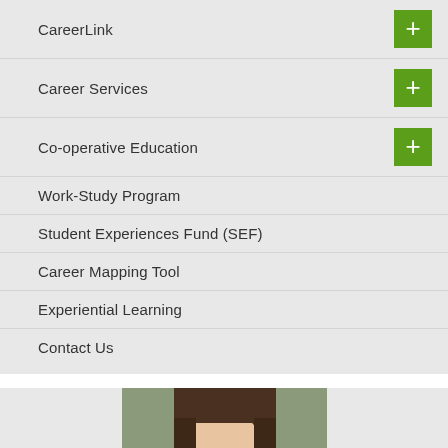CareerLink
Career Services
Co-operative Education
Work-Study Program
Student Experiences Fund (SEF)
Career Mapping Tool
Experiential Learning
Contact Us
[Figure (photo): Portrait photo of a young woman with long straight brown hair, taken against a neutral background]